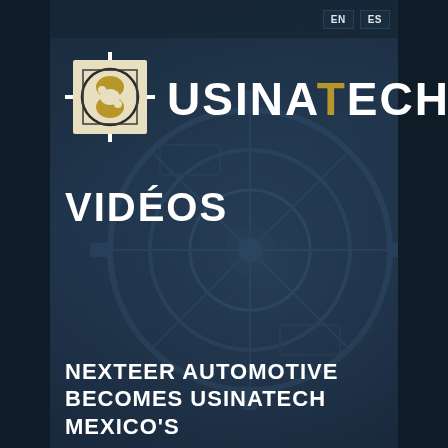EN  ES
[Figure (logo): UsinaTech logo: circular gear/target icon on left, text USINATECH with T in gold color on right]
VIDÉOS
NEXTEER AUTOMOTIVE BECOMES USINATECH MEXICO'S